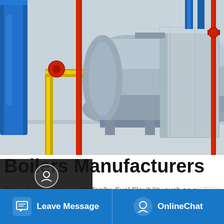[Figure (photo): Industrial boiler equipment in a factory setting, showing a large silver cylindrical boiler tank with blue, red, and yellow pipes, and a metal enclosure box on the right side.]
Boilers Manufacturers
Boiler Capacity from 1-30 Ton/hr, Fuel Flexibility such as coal, palm shell, wood waste, and other solid fuel. Thermal oil heater with capacity 400.000 …
[Figure (screenshot): Save Stickers on WhatsApp banner with green phone icon and smiley face icon on purple-blue gradient background]
Leave Message | OnlineChat